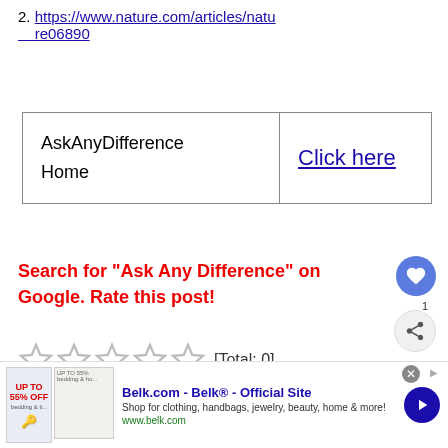2. https://www.nature.com/articles/nature06890
| AskAnyDifference
Home | Click here |
Search for "Ask Any Difference" on Google. Rate this post!
[Total: 0]
[Figure (other): Advertisement banner for Belk.com - Belk® Official Site]